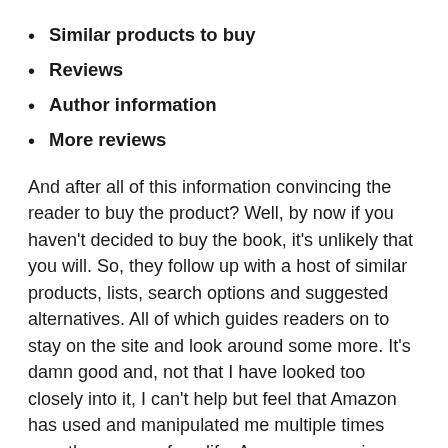Similar products to buy
Reviews
Author information
More reviews
And after all of this information convincing the reader to buy the product? Well, by now if you haven't decided to buy the book, it's unlikely that you will. So, they follow up with a host of similar products, lists, search options and suggested alternatives. All of which guides readers on to stay on the site and look around some more. It's damn good and, not that I have looked too closely into it, I can't help but feel that Amazon has used and manipulated me multiple times over the course of my life. As any conversion-friendly site should do – that's why